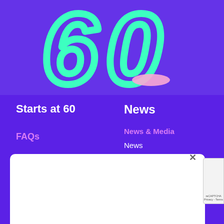[Figure (logo): Stylized '60' logo in mint/teal green with a pink accent, on purple background]
Starts at 60
News
FAQs
News & Media
News
Opinion
Lifestyle
Property & Home
Health
Entertainment
[Figure (other): White overlay popup box with close button (×) and reCAPTCHA badge on right edge]